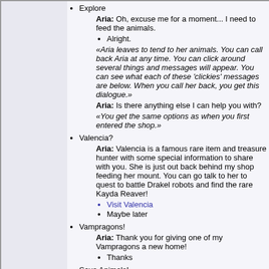Explore
Aria: Oh, excuse me for a moment... I need to feed the animals.
Alright.
«Aria leaves to tend to her animals. You can call back Aria at any time. You can click around several things and messages will appear. You can see what each of these 'clickies' messages are below. When you call her back, you get this dialogue.»
Aria: Is there anything else I can help you with?
«You get the same options as when you first entered the shop.»
Valencia?
Aria: Valencia is a famous rare item and treasure hunter with some special information to share with you. She is just out back behind my shop feeding her mount. You can go talk to her to quest to battle Drakel robots and find the rare Kayda Reaver!
Visit Valencia
Maybe later
Vampragons!
Aria: Thank you for giving one of my Vampragons a new home!
Thanks
Save Animals!
Ghost Rusters!
Snack Time!